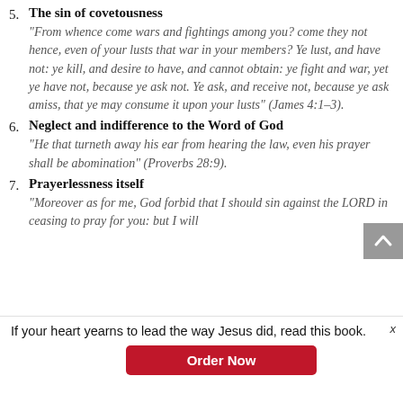5. The sin of covetousness — "From whence come wars and fightings among you? come they not hence, even of your lusts that war in your members? Ye lust, and have not: ye kill, and desire to have, and cannot obtain: ye fight and war, yet ye have not, because ye ask not. Ye ask, and receive not, because ye ask amiss, that ye may consume it upon your lusts" (James 4:1–3).
6. Neglect and indifference to the Word of God — "He that turneth away his ear from hearing the law, even his prayer shall be abomination" (Proverbs 28:9).
7. Prayerlessness itself — "Moreover as for me, God forbid that I should sin against the LORD in ceasing to pray for you: but I will...
If your heart yearns to lead the way Jesus did, read this book.
Order Now